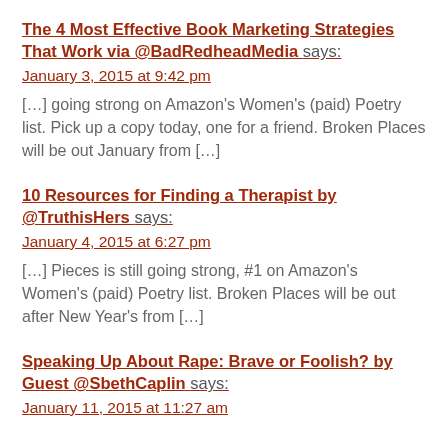The 4 Most Effective Book Marketing Strategies That Work via @BadRedheadMedia says:
January 3, 2015 at 9:42 pm
[…] going strong on Amazon's Women's (paid) Poetry list. Pick up a copy today, one for a friend. Broken Places will be out January from […]
10 Resources for Finding a Therapist by @TruthisHers says:
January 4, 2015 at 6:27 pm
[…] Pieces is still going strong, #1 on Amazon's Women's (paid) Poetry list. Broken Places will be out after New Year's from […]
Speaking Up About Rape: Brave or Foolish? by Guest @SbethCaplin says:
January 11, 2015 at 11:27 am